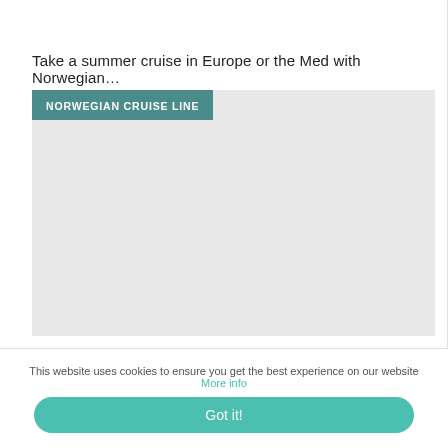Take a summer cruise in Europe or the Med with Norwegian…
[Figure (other): Norwegian Cruise Line advertisement placeholder image with teal NORWEGIAN CRUISE LINE badge in top-left corner and light gray background]
This website uses cookies to ensure you get the best experience on our website More info
Got it!